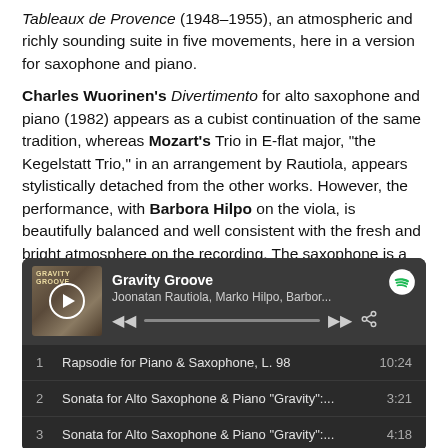Tableaux de Provence (1948–1955), an atmospheric and richly sounding suite in five movements, here in a version for saxophone and piano.
Charles Wuorinen's Divertimento for alto saxophone and piano (1982) appears as a cubist continuation of the same tradition, whereas Mozart's Trio in E-flat major, "the Kegelstatt Trio," in an arrangement by Rautiola, appears stylistically detached from the other works. However, the performance, with Barbora Hilpo on the viola, is beautifully balanced and well consistent with the fresh and bright atmosphere on the recording. The saxophone is a mellow substitute for the original clarinet.
[Figure (screenshot): Spotify player widget showing album 'Gravity Groove' by Joonatan Rautiola, Marko Hilpo, Barbor... with playback controls and a track listing including: 1. Rapsodie for Piano & Saxophone, L. 98 (10:24), 2. Sonata for Alto Saxophone & Piano "Gravity":... (3:21), 3. Sonata for Alto Saxophone & Piano "Gravity":... (4:18)]